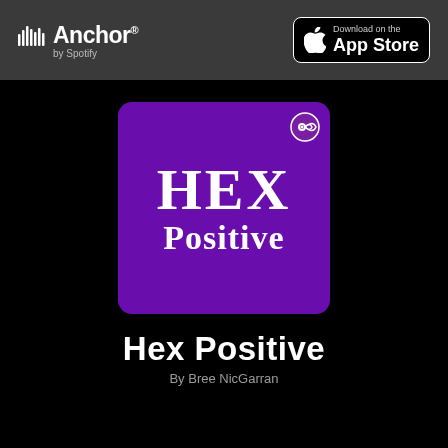[Figure (logo): Anchor by Spotify logo in white on dark gray header bar]
[Figure (logo): Download on the App Store button with Apple logo on black background with white border]
[Figure (logo): Hex Positive podcast cover art: purple rounded square with HEX POSITIVE text in white and a podcast icon badge in top right corner]
Hex Positive
By Bree NicGarran